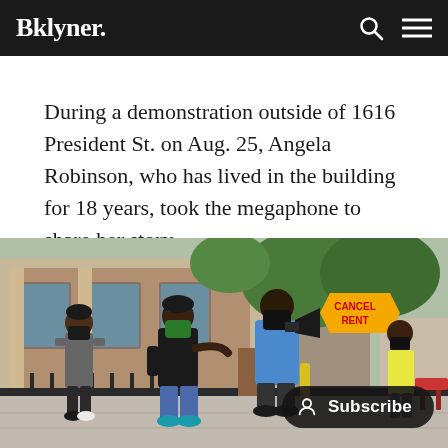Bklyner.
During a demonstration outside of 1616 President St. on Aug. 25, Angela Robinson, who has lived in the building for 18 years, took the megaphone to share her story.
[Figure (photo): Outdoor demonstration scene with several people wearing black face masks, one person in a blue shirt holding a megaphone, a woman in a black shirt gesturing with hands, a teenager standing to the left, and a 'Cancel Rent' protest sign visible. A brick building and iron fence are in the background. A Subscribe button overlay is visible in the lower right.]